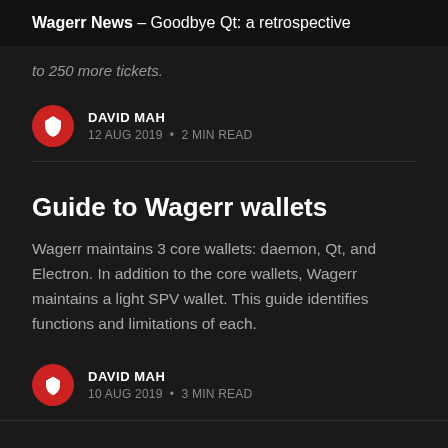Wagerr News – Goodbye Qt: a retrospective
to 250 more tickets.
DAVID MAH
12 AUG 2019 • 2 MIN READ
Guide to Wagerr wallets
Wagerr maintains 3 core wallets: daemon, Qt, and Electron. In addition to the core wallets, Wagerr maintains a light SPV wallet. This guide identifies functions and limitations of each.
DAVID MAH
10 AUG 2019 • 3 MIN READ